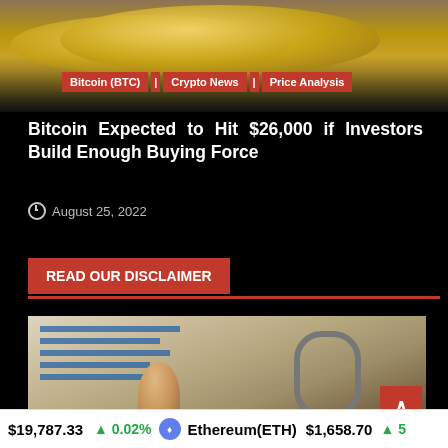[Figure (photo): Gold Bitcoin coins stacked, photography top banner image]
Bitcoin (BTC) | Crypto News | Price Analysis
Bitcoin Expected to Hit $26,000 if Investors Build Enough Buying Force
August 25, 2022
READ OUR DISCLAIMER
[Figure (photo): Binder with financial documents and a rubber stamp, disclaimer section image]
$19,787.33  0.02%  Ethereum(ETH)  $1,658.70